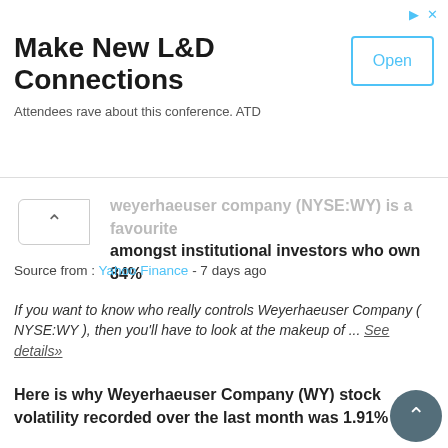[Figure (other): Advertisement banner: Make New L&D Connections - Attendees rave about this conference. ATD - with Open button]
Weyerhaeuser Company (NYSE:WY) is a favourite amongst institutional investors who own 84%
Source from : Yahoo Finance - 7 days ago
If you want to know who really controls Weyerhaeuser Company ( NYSE:WY ), then you'll have to look at the makeup of ... See details»
Here is why Weyerhaeuser Company (WY) stock volatility recorded over the last month was 1.91%
Source from : investchronicle - 11 days ago
Weyerhaeuser Company (WY) is priced at $36.01 after the most recent trading session. At the very opening of the session, the stock price was $35.56 and reached a hi... price of $36.185, prior to ... See details»